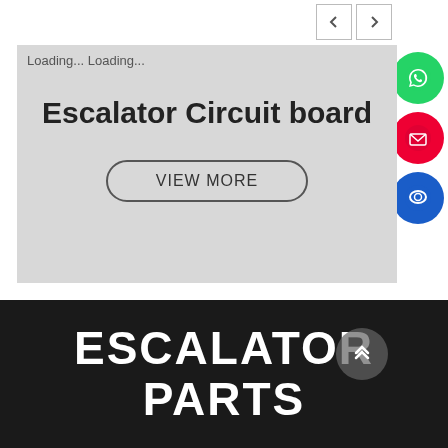[Figure (screenshot): Navigation arrow buttons (left and right chevrons) in white boxes with border, positioned top right]
[Figure (screenshot): Green WhatsApp floating action button with phone/chat icon]
[Figure (screenshot): Red email floating action button with envelope icon]
[Figure (screenshot): Blue chat floating action button with speech bubble icon]
Loading... Loading...
Escalator Circuit board
VIEW MORE
ESCALATOR PARTS
[Figure (screenshot): Grey scroll-to-top button with double upward chevron]